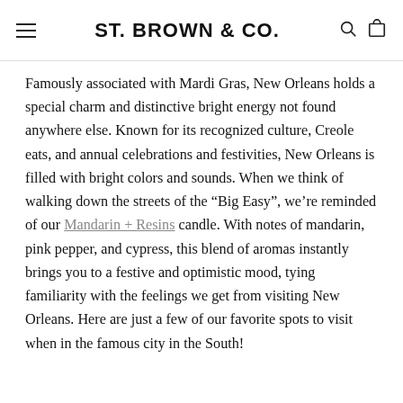ST. BROWN & CO.
Famously associated with Mardi Gras, New Orleans holds a special charm and distinctive bright energy not found anywhere else. Known for its recognized culture, Creole eats, and annual celebrations and festivities, New Orleans is filled with bright colors and sounds. When we think of walking down the streets of the “Big Easy”, we’re reminded of our Mandarin + Resins candle. With notes of mandarin, pink pepper, and cypress, this blend of aromas instantly brings you to a festive and optimistic mood, tying familiarity with the feelings we get from visiting New Orleans. Here are just a few of our favorite spots to visit when in the famous city in the South!